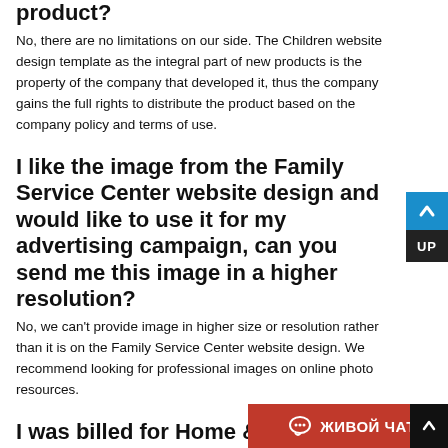product?
No, there are no limitations on our side. The Children website design template as the integral part of new products is the property of the company that developed it, thus the company gains the full rights to distribute the product based on the company policy and terms of use.
I like the image from the Family Service Center website design and would like to use it for my advertising campaign, can you send me this image in a higher resolution?
No, we can't provide image in higher size or resolution rather than it is on the Family Service Center website design. We recommend looking for professional images on online photo resources.
I was billed for Home & Family Blog website design twice – I received 2 emails from merchant
Make sure that these charges for Ho... website design have different order...